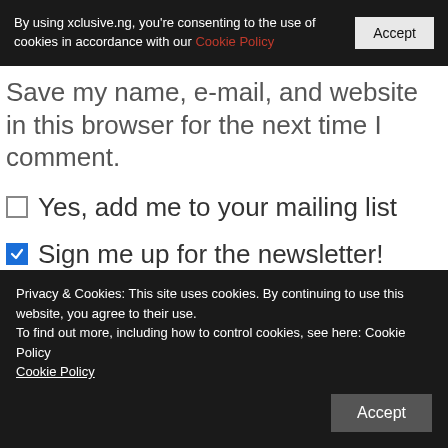By using xclusive.ng, you're consenting to the use of cookies in accordance with our Cookie Policy
Save my name, e-mail, and website in this browser for the next time I comment.
Yes, add me to your mailing list
Sign me up for the newsletter!
Notify me of follow-up comments by email.
Notify me of new posts by email.
Privacy & Cookies: This site uses cookies. By continuing to use this website, you agree to their use.
To find out more, including how to control cookies, see here: Cookie Policy
Cookie Policy